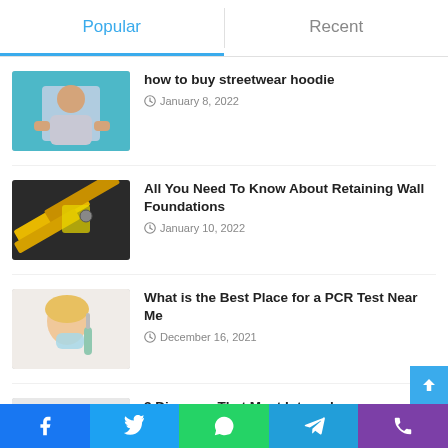Popular
Recent
how to buy streetwear hoodie
January 8, 2022
All You Need To Know About Retaining Wall Foundations
January 10, 2022
What is the Best Place for a PCR Test Near Me
December 16, 2021
3 Diseases That Most Internal